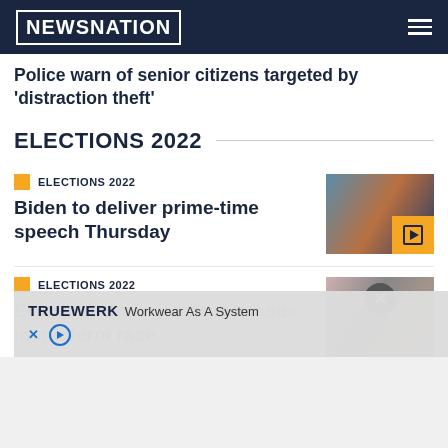NEWSNATION
Police warn of senior citizens targeted by 'distraction theft'
ELECTIONS 2022
ELECTIONS 2022
Biden to deliver prime-time speech Thursday
[Figure (photo): Photo of Biden speaking with play button overlay]
ELECTIONS 2022
Economy emerges as top issue in midterm race
[Figure (photo): Photo of Dr. Oz with close button overlay]
TRUEWERK Workwear As A System